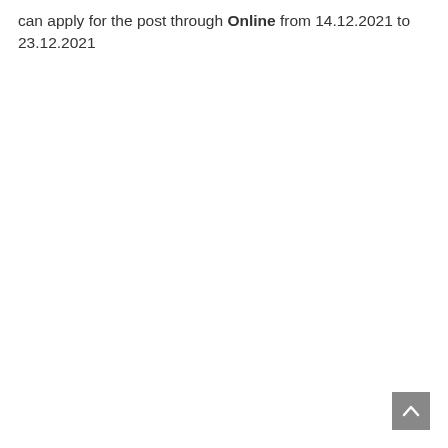can apply for the post through Online from 14.12.2021 to 23.12.2021
[Figure (other): Scroll-to-top button with upward arrow, grey background, bottom-right corner]